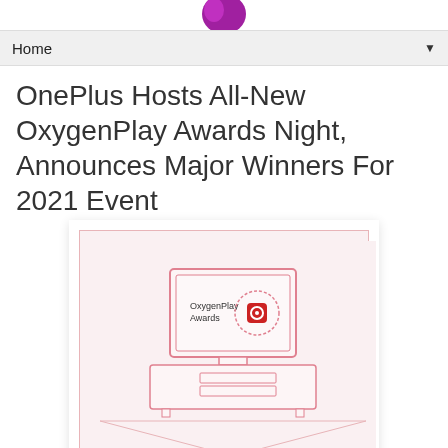[Figure (illustration): Purple logo/icon partially visible at top center of page]
Home ▼
OnePlus Hosts All-New OxygenPlay Awards Night, Announces Major Winners For 2021 Event
[Figure (illustration): OxygenPlay Awards promotional illustration showing a TV on a media console with OxygenPlay Awards logo and OnePlus camera icon on screen, set in a living room outline, drawn in pink/red line art style on light pink background]